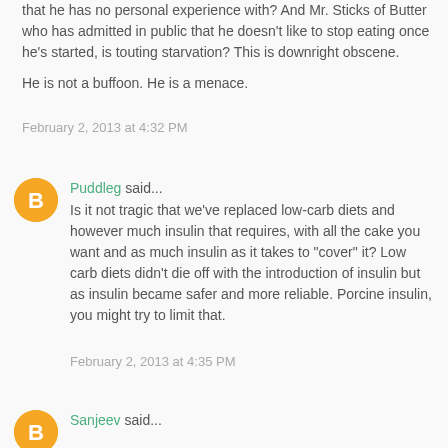that he has no personal experience with? And Mr. Sticks of Butter who has admitted in public that he doesn't like to stop eating once he's started, is touting starvation? This is downright obscene.
He is not a buffoon. He is a menace.
February 2, 2013 at 4:32 PM
Puddleg said...
Is it not tragic that we've replaced low-carb diets and however much insulin that requires, with all the cake you want and as much insulin as it takes to "cover" it? Low carb diets didn't die off with the introduction of insulin but as insulin became safer and more reliable. Porcine insulin, you might try to limit that.
February 2, 2013 at 4:35 PM
Sanjeev said...